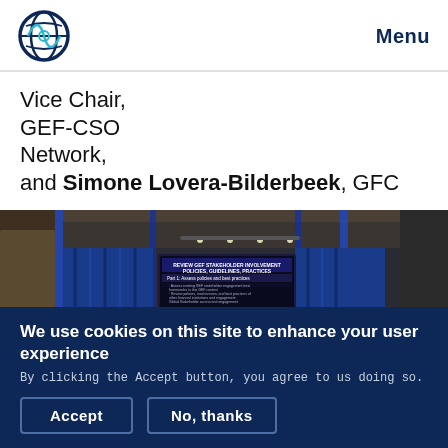Menu
Vice Chair, GEF-CSO Network, and Simone Lovera-Bilderbeek, GFC
[Figure (photo): Conference room with blue curtains and a projection screen showing a presentation titled 'REVIEW GEF STAKEHOLDER INVOLVEMENT POLICIES, GUIDELINES, PRACTICES']
We use cookies on this site to enhance your user experience
By clicking the Accept button, you agree to us doing so.
Accept
No, thanks